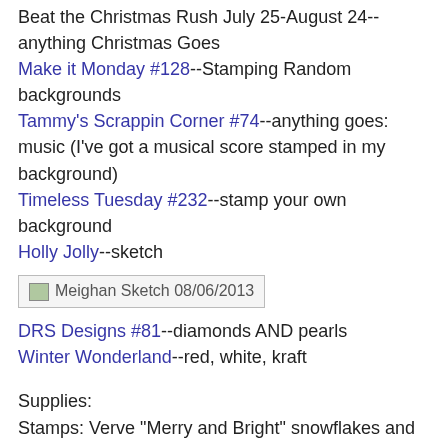Beat the Christmas Rush July 25-August 24--anything Christmas Goes
Make it Monday #128--Stamping Random backgrounds
Tammy's Scrappin Corner #74--anything goes: music (I've got a musical score stamped in my background)
Timeless Tuesday #232--stamp your own background
Holly Jolly--sketch
[Figure (photo): Meighan Sketch 08/06/2013 - placeholder image]
DRS Designs #81--diamonds AND pearls
Winter Wonderland--red, white, kraft
Supplies:
Stamps: Verve "Merry and Bright" snowflakes and "Ornamental Christmas" sentiment; Skipping Stones Design "Timeless Texture" musical score; PTI "Mat Stack #2" frame
Dies: PTI "Mat Stack #2" and border die
Heather at 12:17 PM    12 comments:
CAS flowers